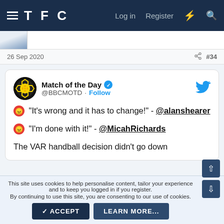TFC  Log in  Register
26 Sep 2020  #34
[Figure (screenshot): Embedded tweet from @BBCMOTD (Match of the Day) with angry face emojis. Text: "It's wrong and it has to change!" - @alanshearer / "I'm done with it!" - @MicahRichards / The VAR handball decision didn't go down...]
This site uses cookies to help personalise content, tailor your experience and to keep you logged in if you register. By continuing to use this site, you are consenting to our use of cookies.
ACCEPT  LEARN MORE...